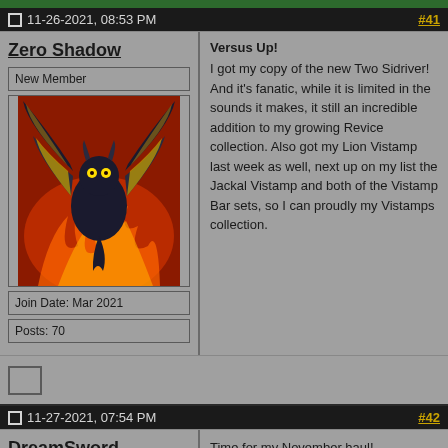11-26-2021, 08:53 PM
#41
Zero Shadow
New Member
[Figure (illustration): Anime character illustration - a dark winged creature with golden/yellow highlights against a fiery red background]
Join Date: Mar 2021
Posts: 70
Versus Up!
I got my copy of the new Two Sidriver! And it's fanatic, while it is limited in the sounds it makes, it still an incredible addition to my growing Revice collection. Also got my Lion Vistamp last week as well, next up on my list the Jackal Vistamp and both of the Vistamp Bar sets, so I can proudly my Vistamps collection.
11-27-2021, 07:54 PM
#42
DreamSword
Some guy. I'm alright.
[Figure (illustration): Anime-style character illustration - a young person with red/brown spiky hair and glasses, wearing a dark hoodie, smiling]
Time for my November haul!

All of the Garo anime on blu-ray. Been really loving this series so far, so I figured screw it, might as well. Hoping the live-action stuff lives up the standard and those set for me.